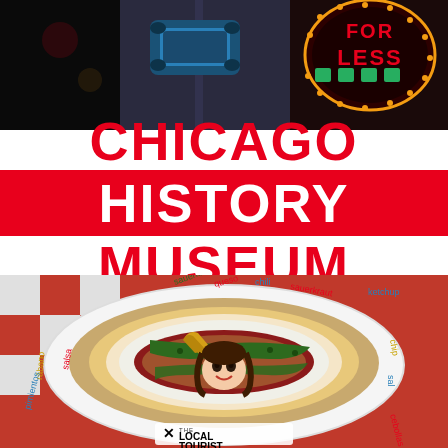[Figure (photo): Top-down aerial view of a classic blue car on a city street at night with colorful neon signs including 'FOR LESS' visible]
CHICAGO HISTORY MUSEUM
[Figure (photo): Overhead view of a child lying inside a giant inflatable hot dog bun display at the Chicago History Museum, surrounded by large inflatable toppings including pickles, peppers, and condiments, with words like queso, chili, sauerkraut, ketchup, salsa, rabano, pimientos, cebollas written around the circular display]
THE LOCAL TOURIST